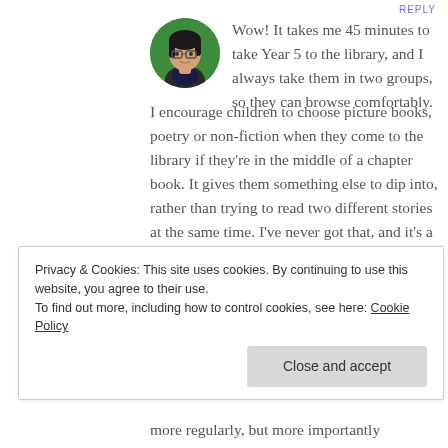REPLY
[Figure (illustration): Circular avatar of a cartoon person with dark hair and glasses, on a green background]
Wow! It takes me 45 minutes to take Year 5 to the library, and I always take them in two groups, so they can browse comfortably.
I encourage children to choose picture books, poetry or non-fiction when they come to the library if they’re in the middle of a chapter book. It gives them something else to dip into, rather than trying to read two different stories at the same time. I’ve never got that, and it’s a
Privacy & Cookies: This site uses cookies. By continuing to use this website, you agree to their use.
To find out more, including how to control cookies, see here: Cookie Policy
Close and accept
more regularly, but more importantly